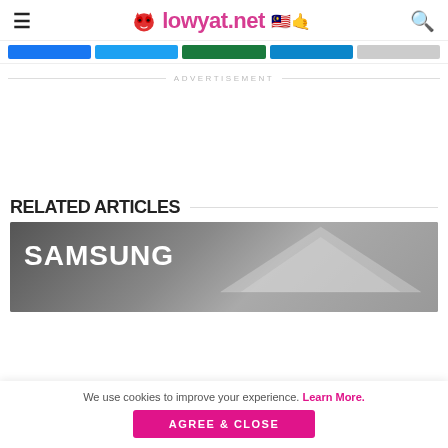lowyat.net
ADVERTISEMENT
RELATED ARTICLES
[Figure (photo): Samsung signage/logo at an outdoor event or trade show with tent structure visible in background]
We use cookies to improve your experience. Learn More.
AGREE & CLOSE